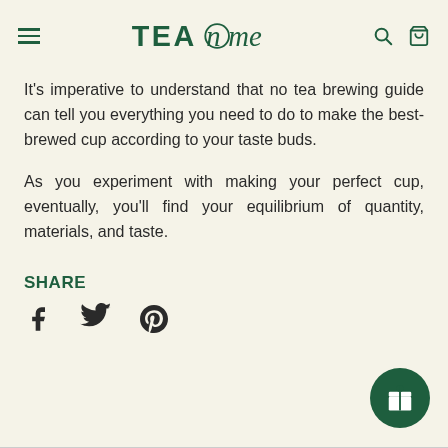TEA me — navigation header with hamburger menu, logo, search and cart icons
It's imperative to understand that no tea brewing guide can tell you everything you need to do to make the best-brewed cup according to your taste buds.
As you experiment with making your perfect cup, eventually, you'll find your equilibrium of quantity, materials, and taste.
SHARE
[Figure (infographic): Social sharing icons: Facebook, Twitter, Pinterest]